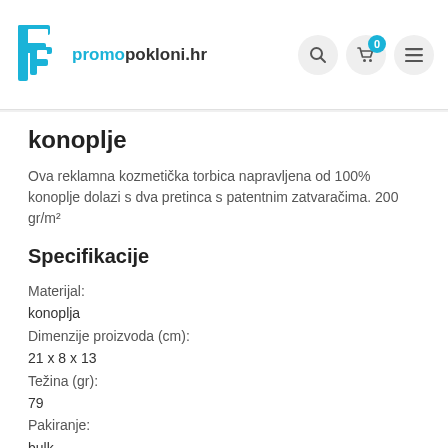promopokloni.hr
konoplje
Ova reklamna kozmetička torbica napravljena od 100% konoplje dolazi s dva pretinca s patentnim zatvaračima. 200 gr/m²
Specifikacije
Materijal:
konoplja
Dimenzije proizvoda (cm):
21 x 8 x 13
Težina (gr):
79
Pakiranje:
bulk
Prostor za tisak (mm):
140 x 60